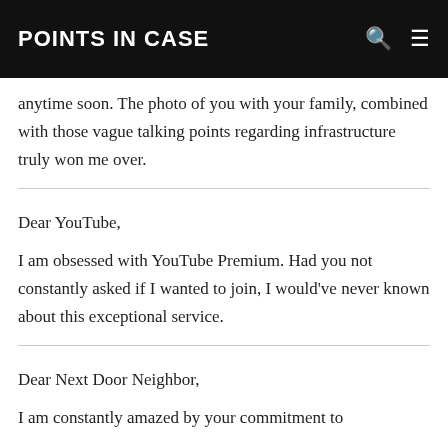POINTS IN CASE
anytime soon. The photo of you with your family, combined with those vague talking points regarding infrastructure truly won me over.
Dear YouTube,
I am obsessed with YouTube Premium. Had you not constantly asked if I wanted to join, I would've never known about this exceptional service.
Dear Next Door Neighbor,
I am constantly amazed by your commitment to...